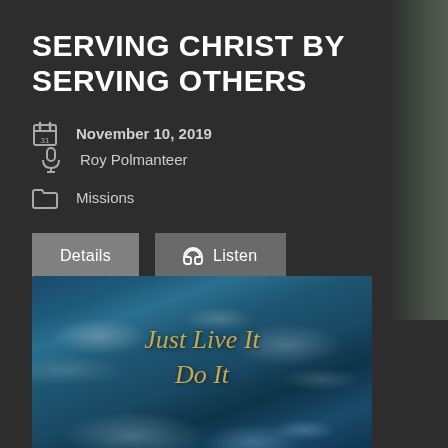SERVING CHRIST BY SERVING OTHERS
November 10, 2019
Roy Polmanteer
Missions
Details
Listen
[Figure (photo): Book cover image with sky and clouds background, showing text 'Just Live It Do It' in gold italic serif font on a teal/blue sky with clouds and swirling water]